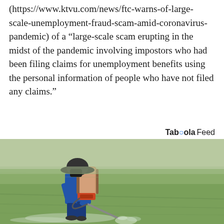(https://www.ktvu.com/news/ftc-warns-of-large-scale-unemployment-fraud-scam-amid-coronavirus-pandemic) of a “large-scale scam erupting in the midst of the pandemic involving impostors who had been filing claims for unemployment benefits using the personal information of people who have not filed any claims.”
Tabôola Feed
[Figure (photo): A person wearing a wide-brimmed hat and blue long-sleeve shirt with a large backpack sprayer, spraying a green agricultural field.]